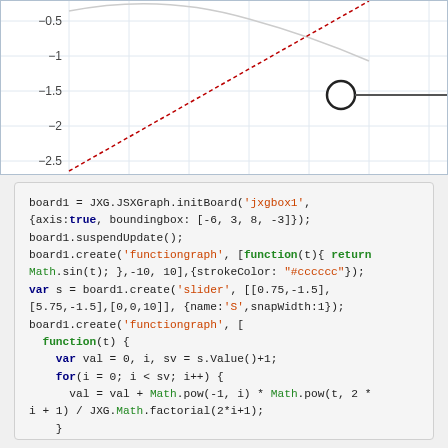[Figure (continuous-plot): A JSXGraph coordinate plane showing a sine curve (gray) and a partial Taylor series approximation (red dashed line), with y-axis values from -0.5 to -2.5 visible, and a slider circle marker around y=-1.5]
board1 = JXG.JSXGraph.initBoard('jxgbox1',
{axis:true, boundingbox: [-6, 3, 8, -3]};
board1.suspendUpdate();
board1.create('functiongraph', [function(t){ return Math.sin(t); },-10, 10],{strokeColor: "#cccccc"});
var s = board1.create('slider', [[0.75,-1.5],[5.75,-1.5],[0,0,10]], {name:'S',snapWidth:1});
board1.create('functiongraph', [
  function(t) {
    var val = 0, i, sv = s.Value()+1;
    for(i = 0; i < sv; i++) {
      val = val + Math.pow(-1, i) * Math.pow(t, 2 * i + 1) / JXG.Math.factorial(2*i+1);
    }
    return val;
  }, -10, 10], {strokeColor: "#bb0000"});
board1.unsuspendUpdate();